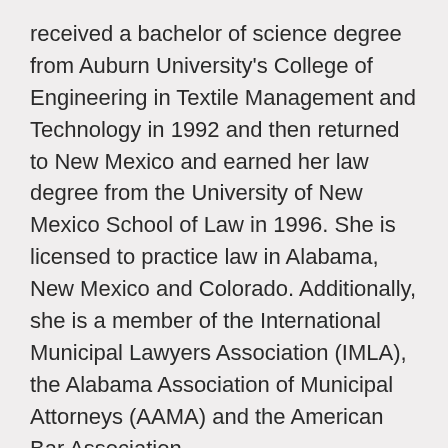received a bachelor of science degree from Auburn University's College of Engineering in Textile Management and Technology in 1992 and then returned to New Mexico and earned her law degree from the University of New Mexico School of Law in 1996. She is licensed to practice law in Alabama, New Mexico and Colorado. Additionally, she is a member of the International Municipal Lawyers Association (IMLA), the Alabama Association of Municipal Attorneys (AAMA) and the American Bar Association.
Lori and her husband, Greg, Director of Alabama State Parks, are the proud parents of Brennan Lein. They reside in Montgomery